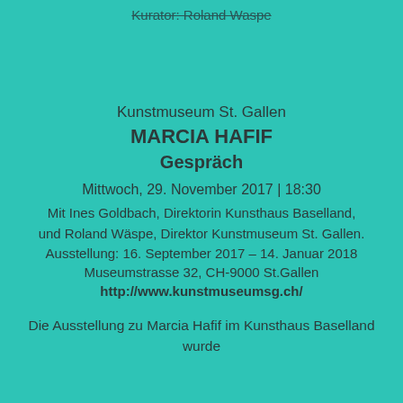Kurator: Roland Waspe
Kunstmuseum St. Gallen
MARCIA HAFIF
Gespräch
Mittwoch, 29. November 2017 | 18:30
Mit Ines Goldbach, Direktorin Kunsthaus Baselland, und Roland Wäspe, Direktor Kunstmuseum St. Gallen.
Ausstellung: 16. September 2017 – 14. Januar 2018
Museumstrasse 32, CH-9000 St.Gallen
http://www.kunstmuseumsg.ch/
Die Ausstellung zu Marcia Hafif im Kunsthaus Baselland wurde